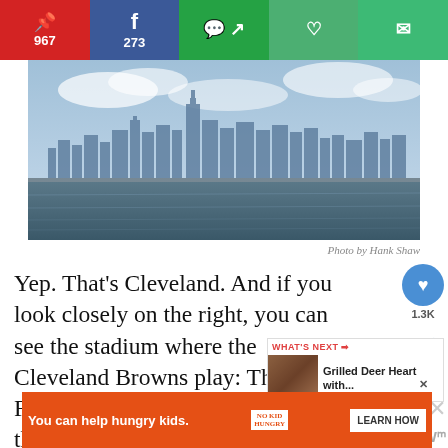[Figure (screenshot): Social sharing bar with Pinterest (967), Facebook (273), WhatsApp, heart/save, and email buttons]
[Figure (photo): City skyline of Cleveland viewed from water, with buildings silhouetted against a blue sky]
Photo by Hank Shaw
Yep. That's Cleveland. And if you look closely on the right, you can see the stadium where the Cleveland Browns play: The Factory of Sadness, or if you prefer, the Cauldron of Despair, or maybe the Pit of Angst. Sorry, Cleveland.
[Figure (screenshot): What's Next promo: Grilled Deer Heart with...]
[Figure (screenshot): Ad banner: You can help hungry kids. No Kid Hungry. Learn How.]